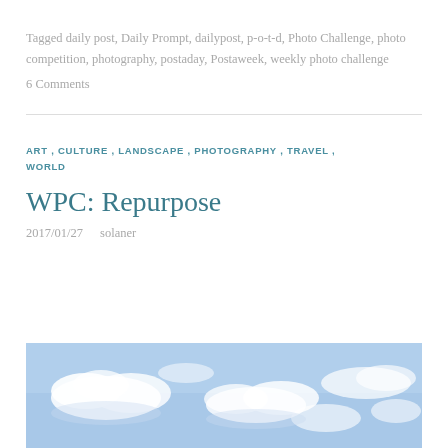Tagged daily post, Daily Prompt, dailypost, p-o-t-d, Photo Challenge, photo competition, photography, postaday, Postaweek, weekly photo challenge
6 Comments
ART, CULTURE, LANDSCAPE, PHOTOGRAPHY, TRAVEL, WORLD
WPC: Repurpose
2017/01/27   solaner
[Figure (photo): Sky with clouds, blue tones, partial view at bottom of page]